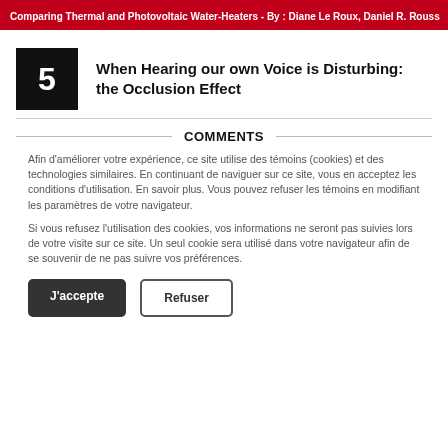Comparing Thermal and Photovoltaic Water-Heaters - By : Diane Le Roux, Daniel R. Rouss
5 When Hearing our own Voice is Disturbing: the Occlusion Effect
COMMENTS
Afin d'améliorer votre expérience, ce site utilise des témoins (cookies) et des technologies similaires. En continuant de naviguer sur ce site, vous en acceptez les conditions d'utilisation. En savoir plus. Vous pouvez refuser les témoins en modifiant les paramètres de votre navigateur.
Si vous refusez l'utilisation des cookies, vos informations ne seront pas suivies lors de votre visite sur ce site. Un seul cookie sera utilisé dans votre navigateur afin de se souvenir de ne pas suivre vos préférences.
J'accepte | Refuser